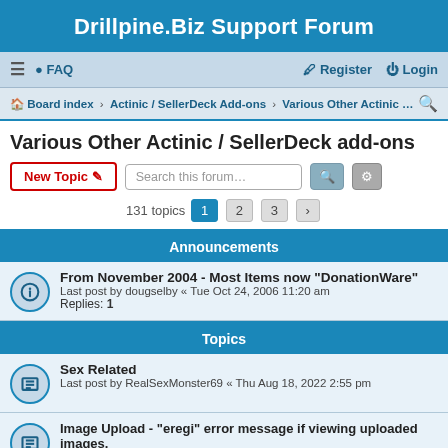Drillpine.Biz Support Forum
≡  FAQ    Register  Login
Board index · Actinic / SellerDeck Add-ons · Various Other Actinic …
Various Other Actinic / SellerDeck add-ons
New Topic   Search this forum…   131 topics  1  2  3  ›
Announcements
From November 2004 - Most Items now "DonationWare"
Last post by dougselby « Tue Oct 24, 2006 11:20 am
Replies: 1
Topics
Sex Related
Last post by RealSexMonster69 « Thu Aug 18, 2022 2:55 pm
Image Upload - "eregi" error message if viewing uploaded images.
Last post by norman « Wed Nov 03, 2021 4:55 pm
SendMail Plugin for later versions of Sellerdeck